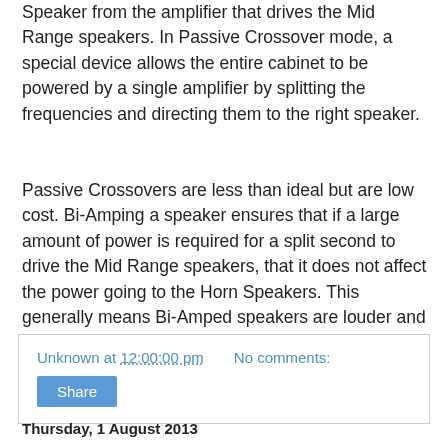Speaker from the amplifier that drives the Mid Range speakers. In Passive Crossover mode, a special device allows the entire cabinet to be powered by a single amplifier by splitting the frequencies and directing them to the right speaker.
Passive Crossovers are less than ideal but are low cost. Bi-Amping a speaker ensures that if a large amount of power is required for a split second to drive the Mid Range speakers, that it does not affect the power going to the Horn Speakers. This generally means Bi-Amped speakers are louder and clearer.
Unknown at 12:00:00 pm   No comments:  Share
Thursday, 1 August 2013